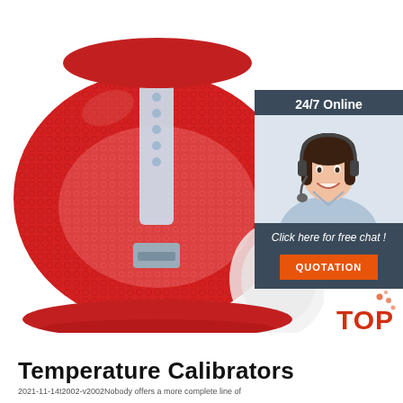[Figure (photo): Close-up photo of a red mesh temperature calibrator device with a light blue sensor strip/label on top, showing mesh texture and red fabric construction]
[Figure (infographic): 24/7 Online chat support widget showing a smiling female agent wearing a headset, dark blue/gray background, 'Click here for free chat!' text, and an orange QUOTATION button]
[Figure (logo): TOP badge logo with red dots pattern and 'TOP' text in red/orange]
Temperature Calibrators
2021-11-14t2002-v2002Nobody offers a more complete line of